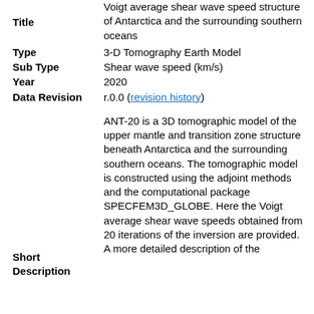Title
Voigt average shear wave speed structure of Antarctica and the surrounding southern oceans
Type
3-D Tomography Earth Model
Sub Type
Shear wave speed (km/s)
Year
2020
Data Revision
r.0.0 (revision history)
Short Description
ANT-20 is a 3D tomographic model of the upper mantle and transition zone structure beneath Antarctica and the surrounding southern oceans. The tomographic model is constructed using the adjoint methods and the computational package SPECFEM3D_GLOBE. Here the Voigt average shear wave speeds obtained from 20 iterations of the inversion are provided. A more detailed description of the